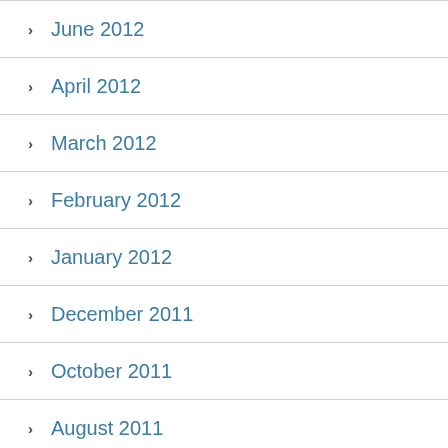June 2012
April 2012
March 2012
February 2012
January 2012
December 2011
October 2011
August 2011
July 2011
June 2011
May 2011